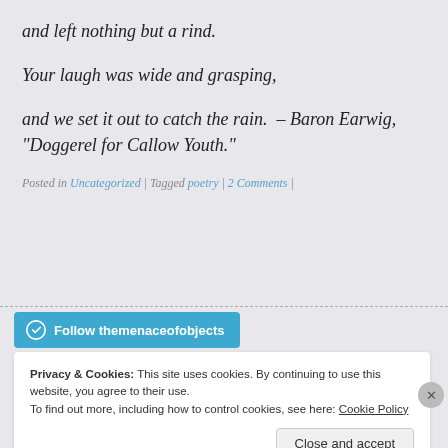and left nothing but a rind.
Your laugh was wide and grasping,
and we set it out to catch the rain.  – Baron Earwig, "Doggerel for Callow Youth."
Posted in Uncategorized | Tagged poetry | 2 Comments |
Follow themenaceofobjects
Privacy & Cookies: This site uses cookies. By continuing to use this website, you agree to their use.
To find out more, including how to control cookies, see here: Cookie Policy
Close and accept